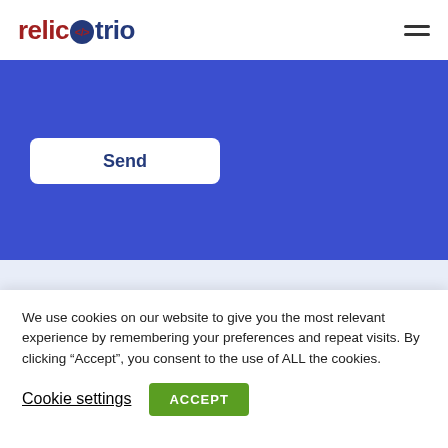relictrio
[Figure (screenshot): Blue section with a white Send button on the left]
[Figure (screenshot): Light blue footer section with partial relictrio logo visible]
We use cookies on our website to give you the most relevant experience by remembering your preferences and repeat visits. By clicking “Accept”, you consent to the use of ALL the cookies.
Cookie settings
ACCEPT